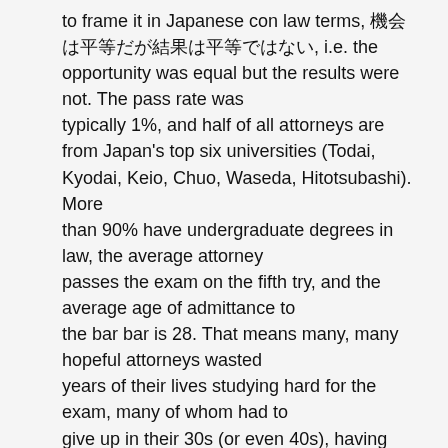to frame it in Japanese con law terms, 機会は平等だが結果は平等ではない, i.e. the opportunity was equal but the results were not. The pass rate was typically 1%, and half of all attorneys are from Japan's top six universities (Todai, Kyodai, Keio, Chuo, Waseda, Hitotsubashi). More than 90% have undergraduate degrees in law, the average attorney passes the exam on the fifth try, and the average age of admittance to the bar bar is 28. That means many, many hopeful attorneys wasted years of their lives studying hard for the exam, many of whom had to give up in their 30s (or even 40s), having lost much of their young professional lives.
The exam structure is such: 60 multiple choice questions in May, pass rate 20%. Then two days of essays in July, pass rate 15%. Then a spoken exam in January, pass rate 95%. That comes down to